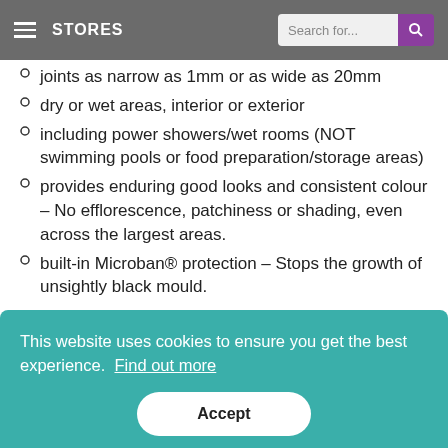STORES | Search for...
joints as narrow as 1mm or as wide as 20mm
dry or wet areas, interior or exterior
including power showers/wet rooms (NOT swimming pools or food preparation/storage areas)
provides enduring good looks and consistent colour – No efflorescence, patchiness or shading, even across the largest areas.
built-in Microban® protection – Stops the growth of unsightly black mould.
This website uses cookies to ensure you get the best experience. Find out more
Accept
Seashell/Shell, White, marine/Jasmine, Gun Metal, Pebble, Ebony, Smoke, Anthracite, Tornado Sky